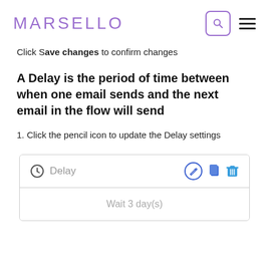MARSELLO
Click Save changes to confirm changes
A Delay is the period of time between when one email sends and the next email in the flow will send
1. Click the pencil icon to update the Delay settings
[Figure (screenshot): A UI card showing a Delay block with a clock icon, the label 'Delay', edit/copy/delete action icons, and a body section showing 'Wait 3 day(s)']